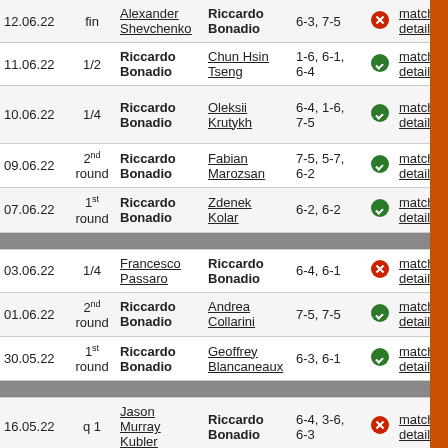| Date | Round | Winner | Loser | Score |  | Details | Tournament |
| --- | --- | --- | --- | --- | --- | --- | --- |
| 12.06.22 | fin | Riccardo Bonadio | Alexander Shevchenko | 6-3, 7-5 | loss | match details |  |
| 11.06.22 | 1/2 | Riccardo Bonadio | Chun Hsin Tseng | 1-6, 6-1, 6-4 | win | match details |  |
| 10.06.22 | 1/4 | Riccardo Bonadio | Oleksii Krutykh | 6-4, 1-6, 7-5 | win | match details | Bratislava Challenger |
| 09.06.22 | 2nd round | Riccardo Bonadio | Fabian Marozsan | 7-5, 5-7, 6-2 | win | match details |  |
| 07.06.22 | 1st round | Riccardo Bonadio | Zdenek Kolar | 6-2, 6-2 | win | match details |  |
| ---separator--- |
| 03.06.22 | 1/4 | Francesco Passaro | Riccardo Bonadio | 6-4, 6-1 | loss | match details |  |
| 01.06.22 | 2nd round | Riccardo Bonadio | Andrea Collarini | 7-5, 7-5 | win | match details | Forli 6 |
| 30.05.22 | 1st round | Riccardo Bonadio | Geoffrey Blancaneaux | 6-3, 6-1 | win | match details |  |
| ---separator--- |
| 16.05.22 | q 1 | Jason Murray Kubler | Riccardo Bonadio | 6-4, 3-6, 6-3 | loss | match details | Paris |
| ---separator--- |
| 25.05.22 | 2nd round | Gianluca Mager | Riccardo Bonadio | 7-5, 6-2 | loss | match details | Vicenza |